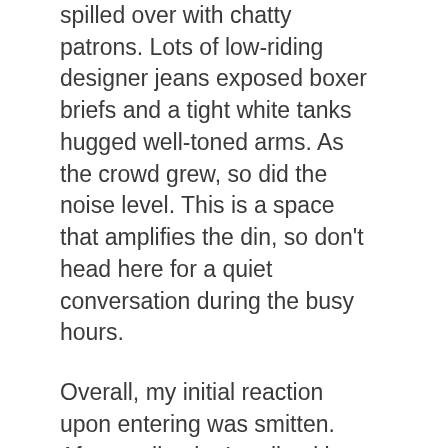spilled over with chatty patrons. Lots of low-riding designer jeans exposed boxer briefs and a tight white tanks hugged well-toned arms. As the crowd grew, so did the noise level. This is a space that amplifies the din, so don't head here for a quiet conversation during the busy hours.
Overall, my initial reaction upon entering was smitten. After settling in, I realized it wasn't really working it on a cocktail level for my personal tastes. But, I think they will garner a loyal crowd of locals looking for this particular brand of nightlife – especially if they drop the prices